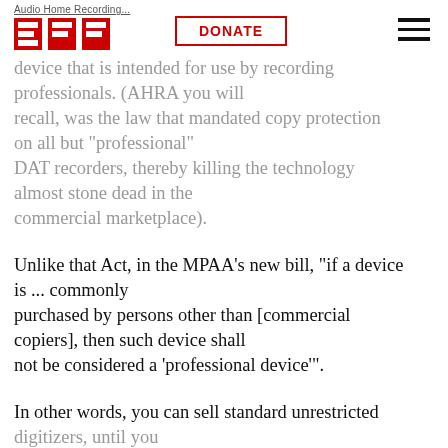Audio Home Recording Act - EFF | DONATE
device that is intended for use by recording professionals. (AHRA you will recall, was the law that mandated copy protection on all but "professional" DAT recorders, thereby killing the technology almost stone dead in the commercial marketplace).
Unlike that Act, in the MPAA's new bill, "if a device is ... commonly purchased by persons other than [commercial copiers], then such device shall not be considered a 'professional device'".
In other words, you can sell standard unrestricted digitizers, until you